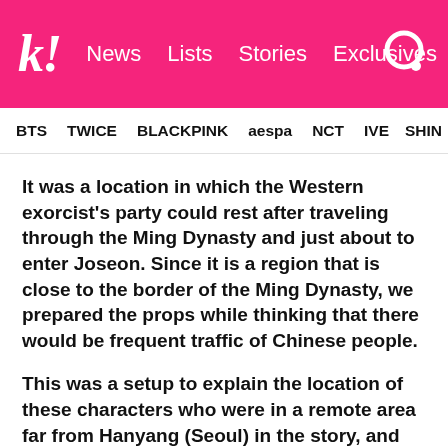k! News  Lists  Stories  Exclusives
BTS  TWICE  BLACKPINK  aespa  NCT  IVE  SHINee
It was a location in which the Western exorcist's party could rest after traveling through the Ming Dynasty and just about to enter Joseon. Since it is a region that is close to the border of the Ming Dynasty, we prepared the props while thinking that there would be frequent traffic of Chinese people.
This was a setup to explain the location of these characters who were in a remote area far from Hanyang (Seoul) in the story, and there were no special intentions behind this at all...